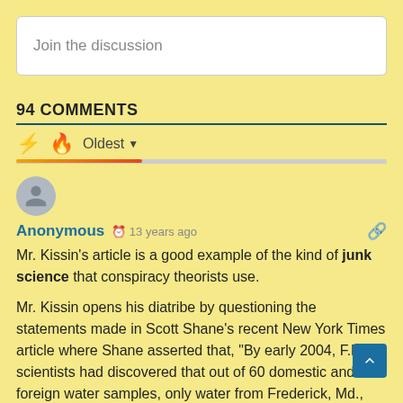Join the discussion
94 COMMENTS
Oldest
Anonymous  13 years ago
Mr. Kissin's article is a good example of the kind of junk science that conspiracy theorists use.
Mr. Kissin opens his diatribe by questioning the statements made in Scott Shane's recent New York Times article where Shane asserted that, "By early 2004, F.B.I. scientists had discovered that out of 60 domestic and foreign water samples, only water from Frederick, Md., had the same chemical